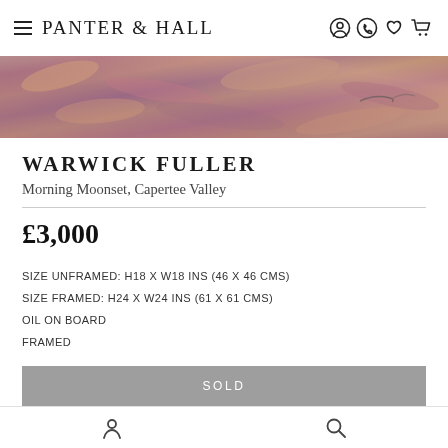PANTER & HALL
[Figure (photo): Partial view of an oil painting showing warm purple, orange, and red impasto brushstrokes — Morning Moonset, Capertee Valley by Warwick Fuller]
WARWICK FULLER
Morning Moonset, Capertee Valley
£3,000
SIZE UNFRAMED: H18 x W18 ins (46 x 46 cms)
SIZE FRAMED: H24 x W24 ins (61 x 61 cms)
OIL ON BOARD
FRAMED
SOLD